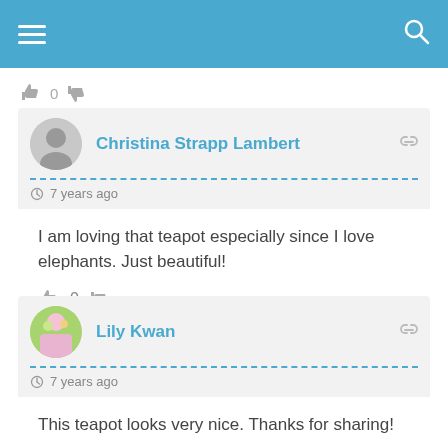Navigation header with menu and search icons
0
Christina Strapp Lambert
7 years ago
I am loving that teapot especially since I love elephants. Just beautiful!
0
Lily Kwan
7 years ago
This teapot looks very nice. Thanks for sharing!